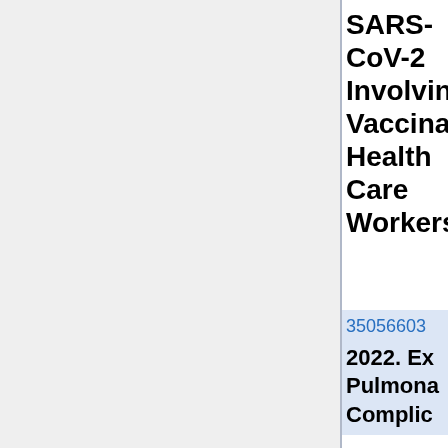SARS-CoV-2 Involving Vaccinated Health Care Workers.
35056603 2022. Ex Pulmonary Complic